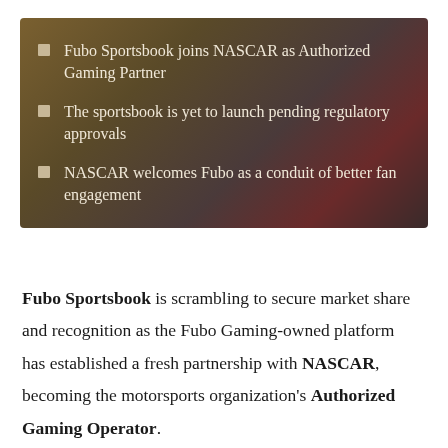Fubo Sportsbook joins NASCAR as Authorized Gaming Partner
The sportsbook is yet to launch pending regulatory approvals
NASCAR welcomes Fubo as a conduit of better fan engagement
Fubo Sportsbook is scrambling to secure market share and recognition as the Fubo Gaming-owned platform has established a fresh partnership with NASCAR, becoming the motorsports organization's Authorized Gaming Operator.